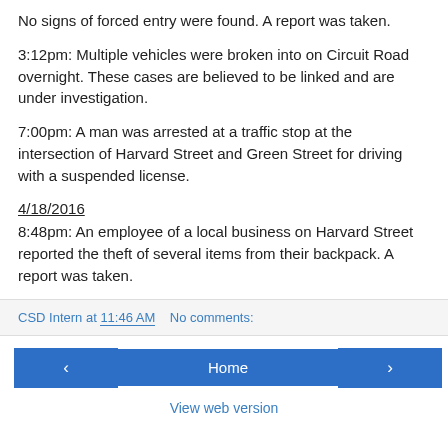No signs of forced entry were found. A report was taken.
3:12pm: Multiple vehicles were broken into on Circuit Road overnight. These cases are believed to be linked and are under investigation.
7:00pm: A man was arrested at a traffic stop at the intersection of Harvard Street and Green Street for driving with a suspended license.
4/18/2016
8:48pm: An employee of a local business on Harvard Street reported the theft of several items from their backpack. A report was taken.
CSD Intern at 11:46 AM   No comments:
‹  Home  ›
View web version